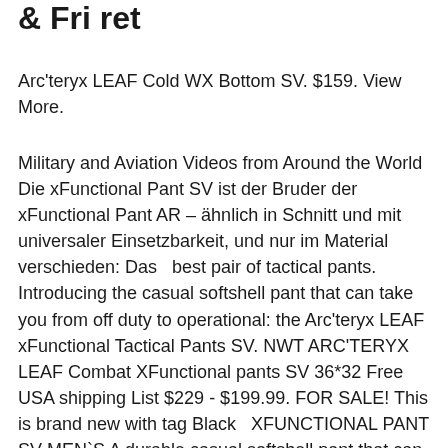& Fri ret
Arc'teryx LEAF Cold WX Bottom SV. $159. View More.
Military and Aviation Videos from Around the World Die xFunctional Pant SV ist der Bruder der xFunctional Pant AR – ähnlich in Schnitt und mit universaler Einsetzbarkeit, und nur im Material verschieden: Das   best pair of tactical pants. Introducing the casual softshell pant that can take you from off duty to operational: the Arc'teryx LEAF xFunctional Tactical Pants SV. NWT ARC'TERYX LEAF Combat XFunctional pants SV 36*32 Free USA shipping List $229 - $199.99. FOR SALE! This is brand new with tag Black  XFUNCTIONAL PANT SV MEN`S A durable casual softshell pant that can be worn operationally or as an off duty lifestyle